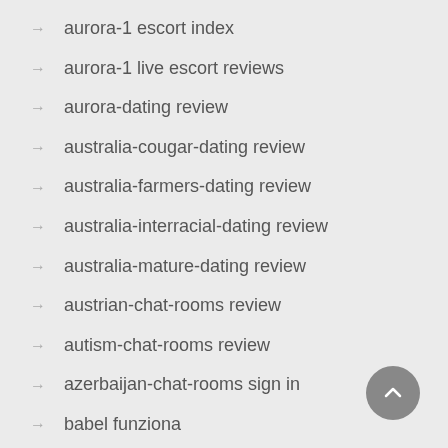→ aurora-1 escort index
→ aurora-1 live escort reviews
→ aurora-dating review
→ australia-cougar-dating review
→ australia-farmers-dating review
→ australia-interracial-dating review
→ australia-mature-dating review
→ austrian-chat-rooms review
→ autism-chat-rooms review
→ azerbaijan-chat-rooms sign in
→ babel funziona
→ babel reviews